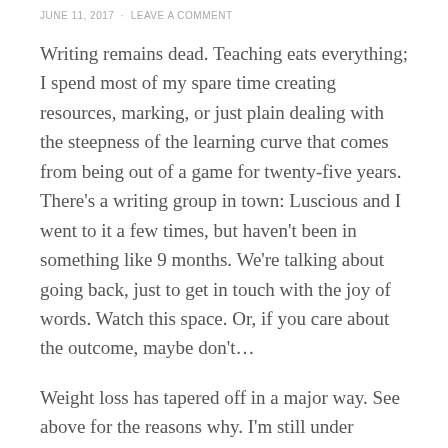JUNE 11, 2017 · LEAVE A COMMENT
Writing remains dead. Teaching eats everything; I spend most of my spare time creating resources, marking, or just plain dealing with the steepness of the learning curve that comes from being out of a game for twenty-five years. There's a writing group in town: Luscious and I went to it a few times, but haven't been in something like 9 months. We're talking about going back, just to get in touch with the joy of words. Watch this space. Or, if you care about the outcome, maybe don't…
Weight loss has tapered off in a major way. See above for the reasons why. I'm still under 100kgs, which is a good thing, and trying to fit workouts into the gaps. Call it maintenance rather than loss, perhaps. I have still lost centimetres, which is positive, and my chest